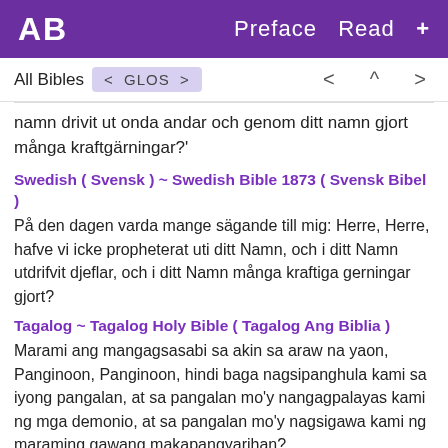AB   Preface  Read  +
All Bibles  < GLOS >   <  ^  >
namn drivit ut onda andar och genom ditt namn gjort många kraftgärningar?'
Swedish ( Svensk ) ~ Swedish Bible 1873 ( Svensk Bibel )
På den dagen varda mange sägande till mig: Herre, Herre, hafve vi icke propheterat uti ditt Namn, och i ditt Namn utdrifvit djeflar, och i ditt Namn många kraftiga gerningar gjort?
Tagalog ~ Tagalog Holy Bible ( Tagalog Ang Biblia )
Marami ang mangagsasabi sa akin sa araw na yaon, Panginoon, Panginoon, hindi baga nagsipanghula kami sa iyong pangalan, at sa pangalan mo'y nangagpalayas kami ng mga demonio, at sa pangalan mo'y nagsigawa kami ng maraming gawang makapangyarihan?